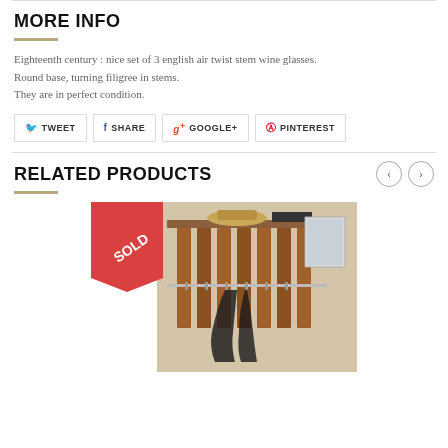MORE INFO
Eighteenth century : nice set of 3 english air twist stem wine glasses. Round base, turning filigree in stems.
They are in perfect condition.
TWEET
SHARE
GOOGLE+
PINTEREST
RELATED PRODUCTS
[Figure (photo): Photo of a wooden coat rack with metal rails and hooks, showing a hat on top shelf and coats hanging. A red 'SOLD' banner is overlaid in the top-left corner.]